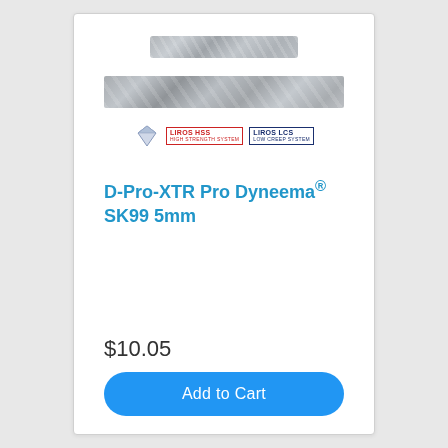[Figure (photo): Thin braided rope sample, gray/silver colored, viewed from above, narrow width]
[Figure (photo): Wider braided rope sample, gray/silver colored, viewed from above, thicker braid pattern]
[Figure (logo): Diamond logo icon with LIROS HSS and LIROS LCS brand logos]
D-Pro-XTR Pro Dyneema® SK99 5mm
$10.05
Add to Cart